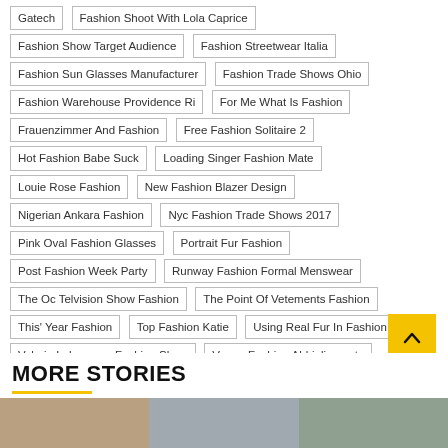Gatech | Fashion Shoot With Lola Caprice | Fashion Show Target Audience | Fashion Streetwear Italia | Fashion Sun Glasses Manufacturer | Fashion Trade Shows Ohio | Fashion Warehouse Providence Ri | For Me What Is Fashion | Frauenzimmer And Fashion | Free Fashion Solitaire 2 | Hot Fashion Babe Suck | Loading Singer Fashion Mate | Louie Rose Fashion | New Fashion Blazer Design | Nigerian Ankara Fashion | Nyc Fashion Trade Shows 2017 | Pink Oval Fashion Glasses | Portrait Fur Fashion | Post Fashion Week Party | Runway Fashion Formal Menswear | The Oc Telvision Show Fashion | The Point Of Vetements Fashion | This' Year Fashion | Top Fashion Katie | Using Real Fur In Fashion | Valeria Lukyanova Fashion Show | Vogue Fashion Abbigliamento | Vogue Fashion Show Nfl | What Is Italian Fashion Design | Womens Right Fashion Craze | Yoga Fashion Winter
Previous
Walmart to add Symbotic automation system at DCs
Next
How to Run a Successful Thrift Store
MORE STORIES